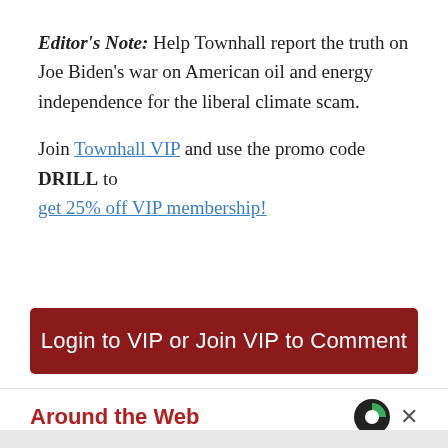Editor's Note: Help Townhall report the truth on Joe Biden's war on American oil and energy independence for the liberal climate scam.
Join Townhall VIP and use the promo code DRILL to get 25% off VIP membership!
Login to VIP or Join VIP to Comment
Around the Web